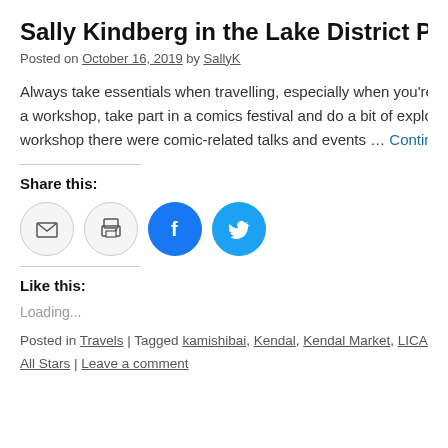Sally Kindberg in the Lake District Part O…
Posted on October 16, 2019 by SallyK
Always take essentials when travelling, especially when you're going to run a workshop, take part in a comics festival and do a bit of exploring. After the workshop there were comic-related talks and events … Continue reading
Share this:
[Figure (other): Four social share buttons: email, print, Facebook, Twitter]
Like this:
Loading...
Posted in Travels | Tagged kamishibai, Kendal, Kendal Market, LICAF, notebo… All Stars | Leave a comment